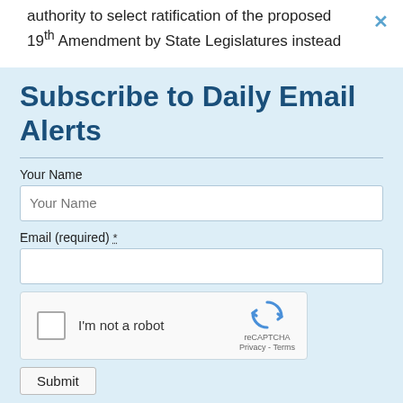authority to select ratification of the proposed 19th Amendment by State Legislatures instead
Subscribe to Daily Email Alerts
Your Name
Email (required) *
[Figure (other): reCAPTCHA widget with checkbox labeled 'I'm not a robot' and reCAPTCHA logo with Privacy - Terms links]
Submit
By submitting this form, you are consenting to receive marketing emails from: News With Views, P.O. Box 990, Spring Branch, TX, 78070-9998,